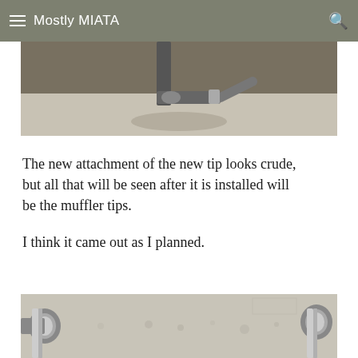Mostly MIATA
[Figure (photo): Close-up photo of a muffler tip attachment, showing metal pipe and exhaust components on a concrete floor background.]
The new attachment of the new tip looks crude, but all that will be seen after it is installed will be the muffler tips.
I think it came out as I planned.
[Figure (photo): Photo showing two chrome muffler tips on a concrete floor, viewed from above.]